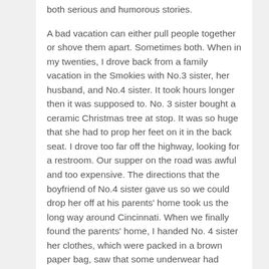both serious and humorous stories.
A bad vacation can either pull people together or shove them apart. Sometimes both. When in my twenties, I drove back from a family vacation in the Smokies with No.3 sister, her husband, and No.4 sister. It took hours longer then it was supposed to. No. 3 sister bought a ceramic Christmas tree at stop. It was so huge that she had to prop her feet on it in the back seat. I drove too far off the highway, looking for a restroom. Our supper on the road was awful and too expensive. The directions that the boyfriend of No.4 sister gave us so we could drop her off at his parents' home took us the long way around Cincinnati. When we finally found the parents' home, I handed No. 4 sister her clothes, which were packed in a brown paper bag, saw that some underwear had fallen out, and handed those to her. In front of her future in-laws.
We were sick of each other by the time we got home